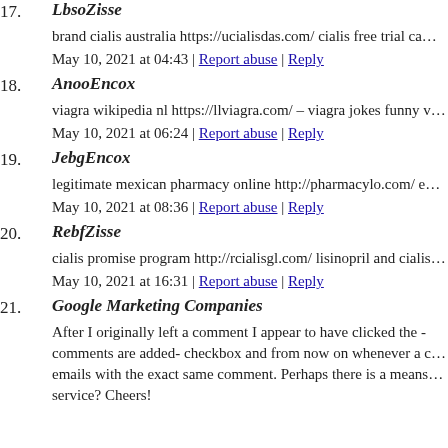17. LbsoZisse
brand cialis australia https://ucialisdas.com/ cialis free trial ca…
May 10, 2021 at 04:43 | Report abuse | Reply
18. AnooEncox
viagra wikipedia nl https://llviagra.com/ – viagra jokes funny v…
May 10, 2021 at 06:24 | Report abuse | Reply
19. JebgEncox
legitimate mexican pharmacy online http://pharmacylo.com/ e…
May 10, 2021 at 08:36 | Report abuse | Reply
20. RebfZisse
cialis promise program http://rcialisgl.com/ lisinopril and cialis…
May 10, 2021 at 16:31 | Report abuse | Reply
21. Google Marketing Companies
After I originally left a comment I appear to have clicked the - comments are added- checkbox and from now on whenever a c… emails with the exact same comment. Perhaps there is a means… service? Cheers!